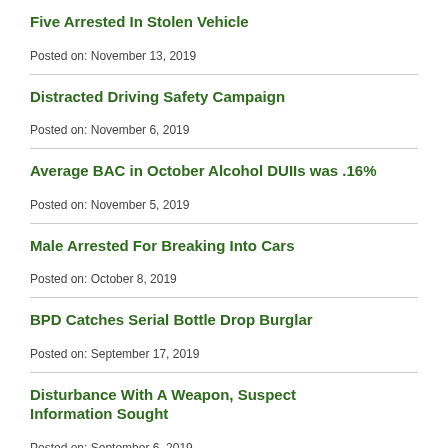Five Arrested In Stolen Vehicle
Posted on: November 13, 2019
Distracted Driving Safety Campaign
Posted on: November 6, 2019
Average BAC in October Alcohol DUIIs was .16%
Posted on: November 5, 2019
Male Arrested For Breaking Into Cars
Posted on: October 8, 2019
BPD Catches Serial Bottle Drop Burglar
Posted on: September 17, 2019
Disturbance With A Weapon, Suspect Information Sought
Posted on: September 6, 2019
Average BAC in August Alcohol DUIIs was .14%